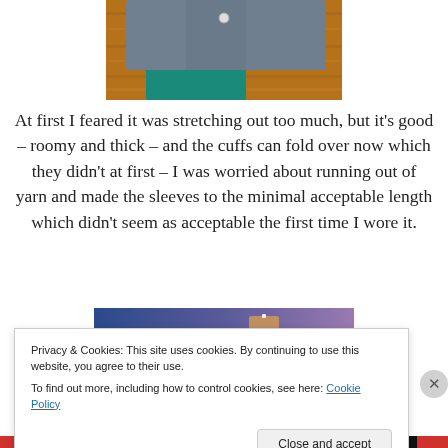[Figure (photo): Top portion of a knitted sweater/cardigan laid on a wooden floor with teal fabric visible]
At first I feared it was stretching out too much, but it's good – roomy and thick – and the cuffs can fold over now which they didn't at first – I was worried about running out of yarn and made the sleeves to the minimal acceptable length which didn't seem as acceptable the first time I wore it.
[Figure (photo): Partially visible photo with blue-to-purple gradient background and a small brown/tan object]
Privacy & Cookies: This site uses cookies. By continuing to use this website, you agree to their use.
To find out more, including how to control cookies, see here: Cookie Policy
Close and accept